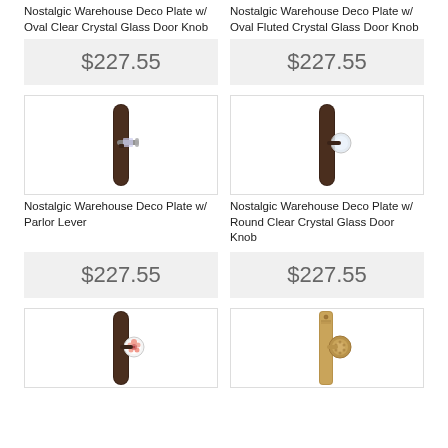Nostalgic Warehouse Deco Plate w/ Oval Clear Crystal Glass Door Knob
Nostalgic Warehouse Deco Plate w/ Oval Fluted Crystal Glass Door Knob
$227.55
$227.55
[Figure (photo): Dark bronze deco plate with parlor lever door knob]
[Figure (photo): Dark bronze deco plate with round clear crystal glass door knob]
Nostalgic Warehouse Deco Plate w/ Parlor Lever
Nostalgic Warehouse Deco Plate w/ Round Clear Crystal Glass Door Knob
$227.55
$227.55
[Figure (photo): Dark bronze deco plate with rose floral glass door knob]
[Figure (photo): Antique brass plate with decorative glass door knob]